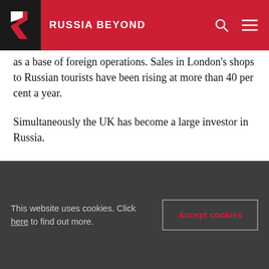RUSSIA BEYOND
as a base of foreign operations. Sales in London's shops to Russian tourists have been rising at more than 40 per cent a year.
Simultaneously the UK has become a large investor in Russia.
Developing relations between London and Russia, therefore, must be a key part of London's strategy in the run up to 2012.
Ken Livingstone was Mayor of London from May
This website uses cookies. Click here to find out more.